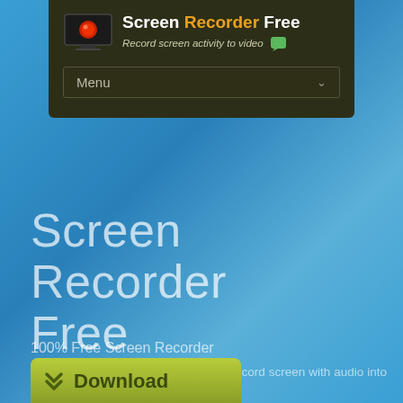[Figure (screenshot): Screen Recorder Free app header with logo (monitor with red record button), title 'Screen Recorder Free', subtitle 'Record screen activity to video', a chat bubble icon, and a Menu dropdown bar. Dark olive/brown background.]
Screen Recorder Free
100% Free Screen Recorder
100% free & safe screen recorder to record screen with audio into video files in real time.
[Figure (illustration): Green/olive Download button with double chevron icon and bold 'Download' text, partially visible at bottom of page.]